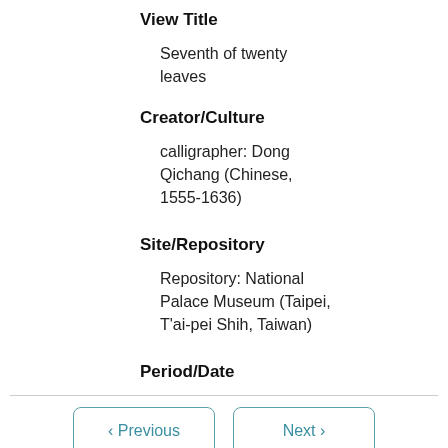View Title
Seventh of twenty leaves
Creator/Culture
calligrapher: Dong Qichang (Chinese, 1555-1636)
Site/Repository
Repository: National Palace Museum (Taipei, T'ai-pei Shih, Taiwan)
Period/Date
< Previous  Next >  Go to page: 1 of 3  Go